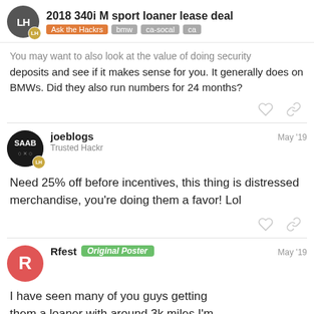2018 340i M sport loaner lease deal — Ask the Hackrs | bmw | ca-socal | ca
You may want to also look at the value of doing security deposits and see if it makes sense for you. It generally does on BMWs. Did they also run numbers for 24 months?
joeblogs — Trusted Hackr — May '19
Need 25% off before incentives, this thing is distressed merchandise, you're doing them a favor! Lol
Rfest [Original Poster] — May '19
I have seen many of you guys getting them a loaner with around 3k miles I'm trying to
3 / 9